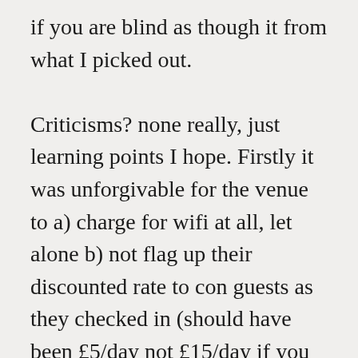if you are blind as though it from what I picked out.

Criticisms? none really, just learning points I hope. Firstly it was unforgivable for the venue to a) charge for wifi at all, let alone b) not flag up their discounted rate to con guests as they checked in (should have been £5/day not £15/day if you were attending); and then they locked access to a single device, which was rubbish – especially given that many sessions were in the basement where there was no mobile reception. The bar was also expensive, and I was amused to discover that the cash only con-bar was actually more expensive than the main hotel